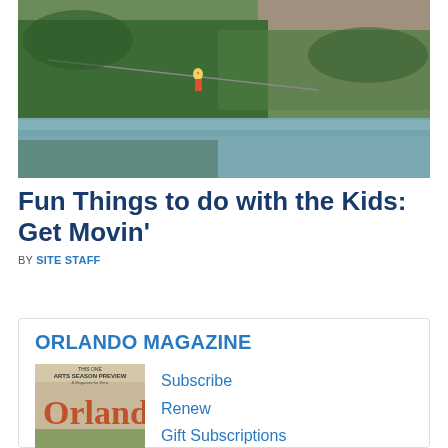[Figure (photo): Aerial view of a person zip-lining over a lush green jungle with a reflective lake below and rocky cliffs in the background]
Fun Things to do with the Kids: Get Movin'
BY SITE STAFF
ORLANDO MAGAZINE
[Figure (photo): Cover of Orlando Magazine showing Arts Season Preview issue with the word Orlando in large letters]
Subscribe
Renew
Gift Subscriptions